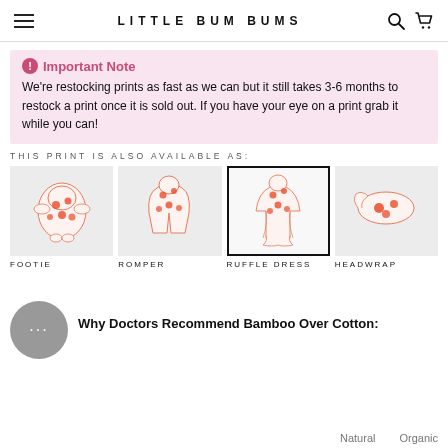LITTLE BUM BUMS
Important Note
We're restocking prints as fast as we can but it still takes 3-6 months to restock a print once it is sold out. If you have your eye on a print grab it while you can!
THIS PRINT IS ALSO AVAILABLE AS:
[Figure (photo): Floral print baby footie onesie with feet, labeled FOOTIE]
[Figure (photo): Floral print baby romper, labeled ROMPER]
[Figure (photo): Floral print ruffle dress with long sleeves, selected item, labeled RUFFLE DRESS]
[Figure (photo): Floral print baby headwrap/bow, labeled HEADWRAP]
Why Doctors Recommend Bamboo Over Cotton:
Natural | Organic